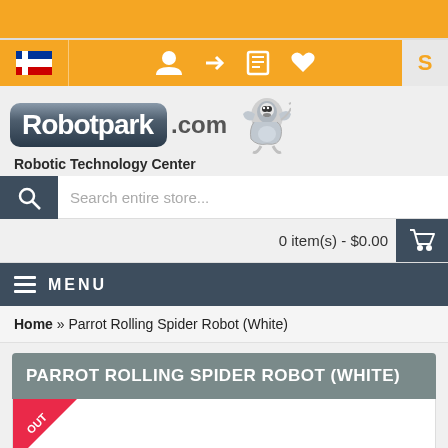Robotpark.com - Robotic Technology Center
Search entire store...
0 item(s) - $0.00
MENU
Home » Parrot Rolling Spider Robot (White)
PARROT ROLLING SPIDER ROBOT (WHITE)